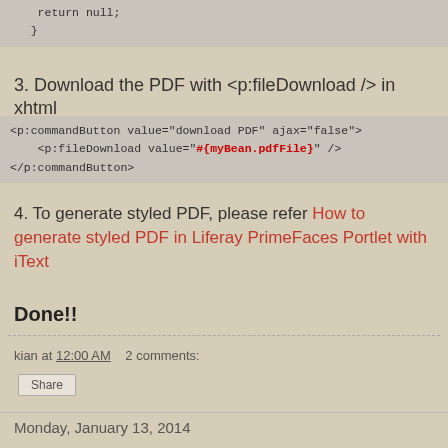return null;
}
3. Download the PDF with <p:fileDownload /> in xhtml
<p:commandButton value="download PDF" ajax="false">
    <p:fileDownload value="#{myBean.pdfFile}" />
</p:commandButton>
4. To generate styled PDF, please refer How to generate styled PDF in Liferay PrimeFaces Portlet with iText
Done!!
kian at 12:00 AM    2 comments:
Share
Monday, January 13, 2014